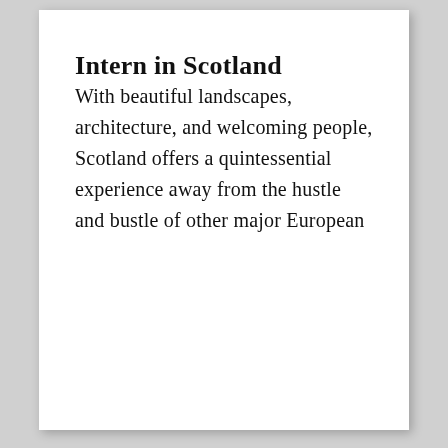Intern in Scotland
With beautiful landscapes, architecture, and welcoming people, Scotland offers a quintessential experience away from the hustle and bustle of other major European